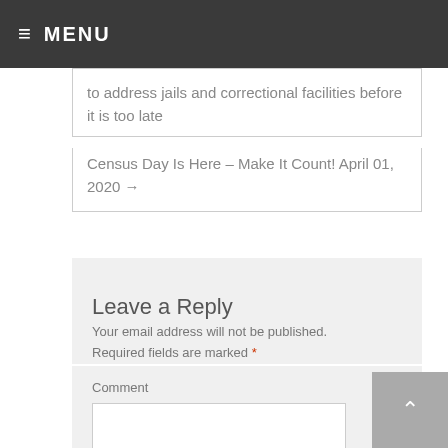≡ MENU
to address jails and correctional facilities before it is too late
Census Day Is Here – Make It Count! April 01, 2020 →
Leave a Reply
Your email address will not be published. Required fields are marked *
Comment